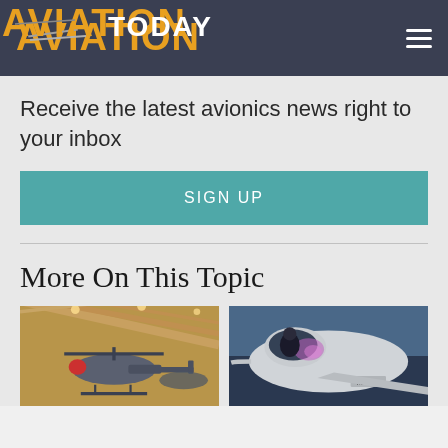AVIATION TODAY
Receive the latest avionics news right to your inbox
SIGN UP
More On This Topic
[Figure (photo): Military helicopter in a hangar facility]
[Figure (photo): Fighter jet cockpit with pilot at dusk/dawn with purple light effect]